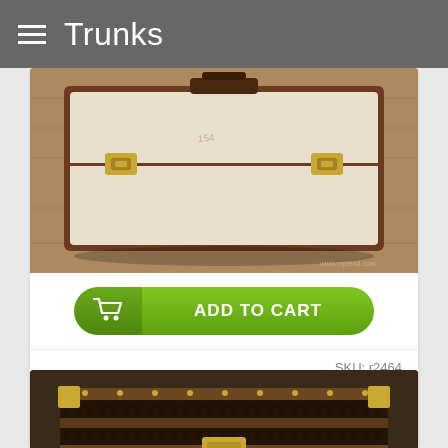Trunks
[Figure (photo): White/cream vintage vanity case with dark brown trim and gold clasps, photographed on a wooden surface]
ADD TO CART
SKU: r2464
R2464 LARGE VANITY CASE
Sales price: 230,00 €
[Figure (photo): Dark brown vintage steamer trunk with wood slat trim and brass hardware/lock, photographed from a three-quarter angle]